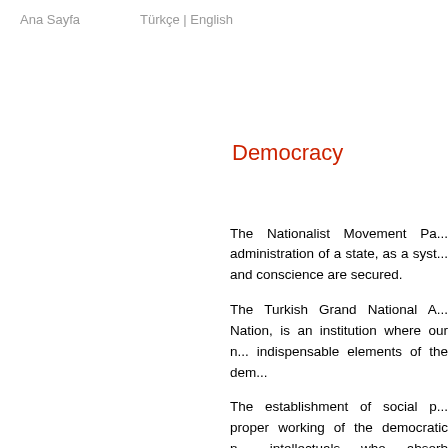Ana Sayfa    Türkçe | English
Democracy
The Nationalist Movement Pa... administration of a state, as a syst... and conscience are secured.
The Turkish Grand National A... Nation, is an institution where our n... indispensable elements of the dem...
The establishment of social p... proper working of the democratic n... intellectuals who absorb democrac...
Our pluralistic democracy idea... protection of the rights and intere...